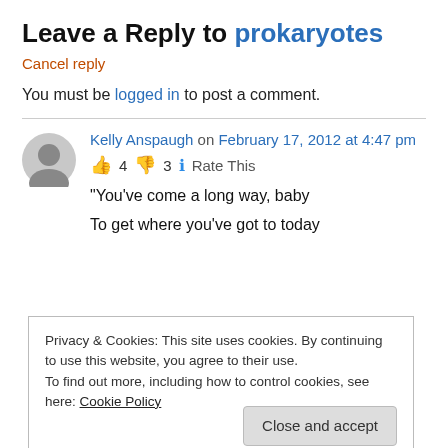Leave a Reply to prokaryotes
Cancel reply
You must be logged in to post a comment.
Kelly Anspaugh on February 17, 2012 at 4:47 pm
👍 4 👎 3 ℹ Rate This
“You’ve come a long way, baby
To get where you’ve got to today
Privacy & Cookies: This site uses cookies. By continuing to use this website, you agree to their use.
To find out more, including how to control cookies, see here: Cookie Policy
Close and accept
cigarette commercial, which must have